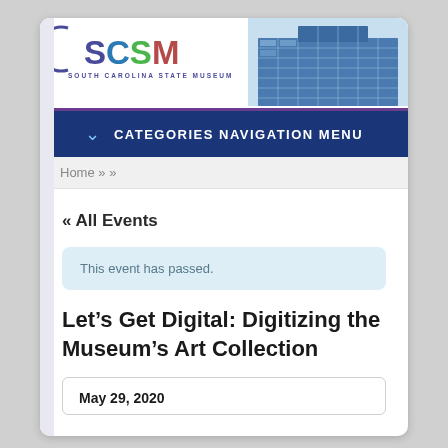[Figure (logo): South Carolina State Museum (SCSM) logo with arc symbol and building photograph]
CATEGORIES NAVIGATION MENU
Home » »
« All Events
This event has passed.
Let's Get Digital: Digitizing the Museum's Art Collection
May 29, 2020